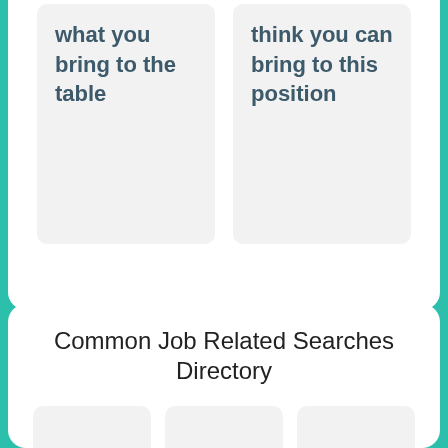what you bring to the table
think you can bring to this position
Common Job Related Searches Directory
a
n
Misc